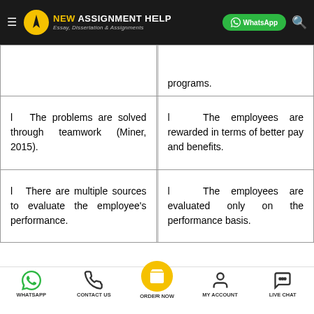NEW ASSIGNMENT HELP — Essay, Dissertation & Assignments
|  | programs. |
| l  The problems are solved through teamwork (Miner, 2015). | l  The employees are rewarded in terms of better pay and benefits. |
| l  There are multiple sources to evaluate the employee's performance. | l  The employees are evaluated only on the performance basis. |
WHATSAPP | CONTACT US | ORDER NOW | MY ACCOUNT | LIVE CHAT